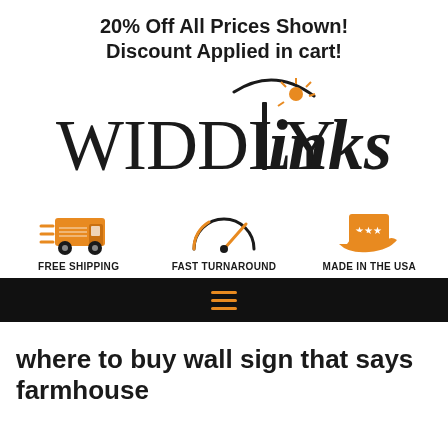20% Off All Prices Shown! Discount Applied in cart!
[Figure (logo): WIDDLYinks logo with orange ink splatter and curved line above the letter i]
[Figure (infographic): Three icons: a delivery truck for FREE SHIPPING, a speedometer for FAST TURNAROUND, and a hand holding a box for MADE IN THE USA]
where to buy wall sign that says farmhouse